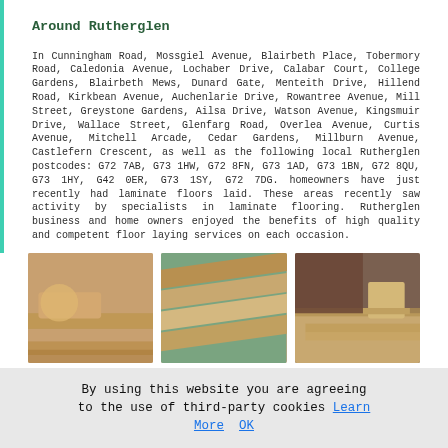Around Rutherglen
In Cunningham Road, Mossgiel Avenue, Blairbeth Place, Tobermory Road, Caledonia Avenue, Lochaber Drive, Calabar Court, College Gardens, Blairbeth Mews, Dunard Gate, Menteith Drive, Hillend Road, Kirkbean Avenue, Auchenlarie Drive, Rowantree Avenue, Mill Street, Greystone Gardens, Ailsa Drive, Watson Avenue, Kingsmuir Drive, Wallace Street, Glenfarg Road, Overlea Avenue, Curtis Avenue, Mitchell Arcade, Cedar Gardens, Millburn Avenue, Castlefern Crescent, as well as the following local Rutherglen postcodes: G72 7AB, G73 1HW, G72 8FN, G73 1AD, G73 1BN, G72 8QU, G73 1HY, G42 0ER, G73 1SY, G72 7DG. homeowners have just recently had laminate floors laid. These areas recently saw activity by specialists in laminate flooring. Rutherglen business and home owners enjoyed the benefits of high quality and competent floor laying services on each occasion.
[Figure (photo): Close-up of hands laying laminate flooring]
[Figure (photo): Stack of laminate flooring planks with green backing]
[Figure (photo): Living room with laminate floor, leather couch and wooden side table]
By using this website you are agreeing to the use of third-party cookies Learn More OK